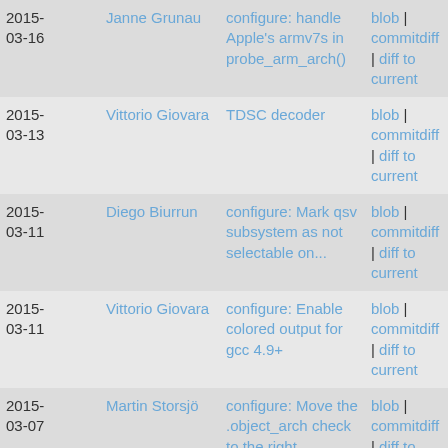| Date | Author | Commit message | Actions |
| --- | --- | --- | --- |
| 2015-03-16 | Janne Grunau | configure: handle Apple's armv7s in probe_arm_arch() | blob | commitdiff | diff to current |
| 2015-03-13 | Vittorio Giovara | TDSC decoder | blob | commitdiff | diff to current |
| 2015-03-11 | Diego Biurrun | configure: Mark qsv subsystem as not selectable on... | blob | commitdiff | diff to current |
| 2015-03-11 | Vittorio Giovara | configure: Enable colored output for gcc 4.9+ | blob | commitdiff | diff to current |
| 2015-03-07 | Martin Storsjö | configure: Move the .object_arch check to the right... | blob | commitdiff | diff to current |
| 2015-03-07 | Martin Storsjö | arm: Suppress tags about used cpu arch and extensions | blob | commitdiff |